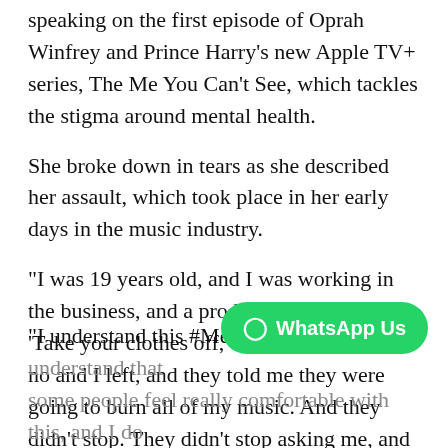speaking on the first episode of Oprah Winfrey and Prince Harry's new Apple TV+ series, The Me You Can't See, which tackles the stigma around mental health.
She broke down in tears as she described her assault, which took place in her early days in the music industry.
“I was 19 years old, and I was working in the business, and a producer said to me, ‘Take your clothes off,’” she recalled. “I said no and I left, and they told me they were going to burn all of my music. And they didn’t stop. They didn’t stop asking me, and I just froze and I… I don’t even remember.”
Now 35, the singer said she would never name her attacker.
“I understand this #MeToo movement, I understand that some people feel really comfortable with this, and I do